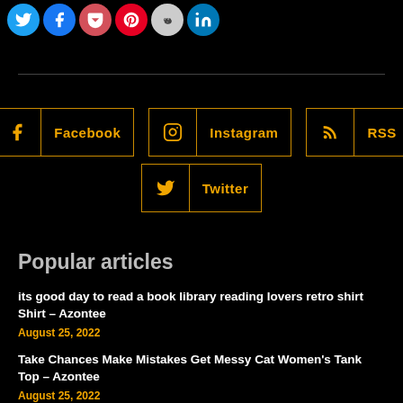[Figure (infographic): Row of circular social share buttons: Twitter (blue), Facebook (blue), Pocket (red), Pinterest (red), Reddit (gray), LinkedIn (blue)]
Facebook   Instagram   RSS   Twitter
Popular articles
its good day to read a book library reading lovers retro shirt Shirt – Azontee
August 25, 2022
Take Chances Make Mistakes Get Messy Cat Women's Tank Top – Azontee
August 25, 2022
unfavorable attendance mix shirt Shirt – Azontee